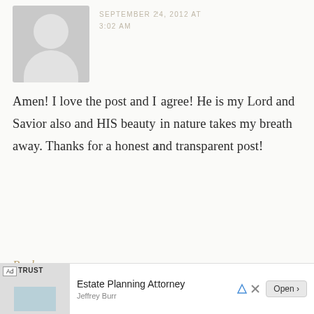SEPTEMBER 24, 2012 AT 3:02 AM
Amen! I love the post and I agree! He is my Lord and Savior also and HIS beauty in nature takes my breath away. Thanks for a honest and transparent post!
Reply
GEE SINGH NEWBANKS says SEPTEMBER 24, 2012 AT
Ad Estate Planning Attorney Jeffrey Burr Open